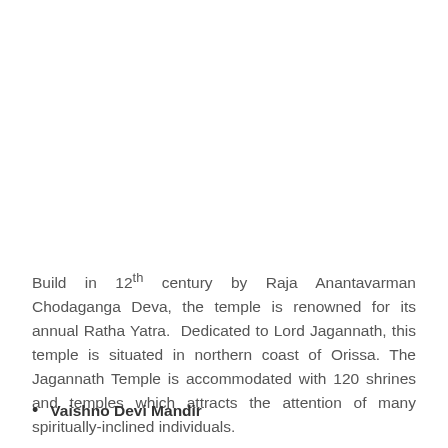Build in 12th century by Raja Anantavarman Chodaganga Deva, the temple is renowned for its annual Ratha Yatra. Dedicated to Lord Jagannath, this temple is situated in northern coast of Orissa. The Jagannath Temple is accommodated with 120 shrines and temples which attracts the attention of many spiritually-inclined individuals.
Vaishno Devi Mandir